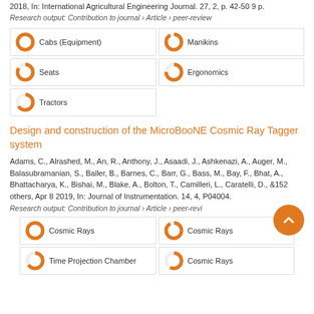2018, In: International Agricultural Engineering Journal. 27, 2, p. 42-50 9 p.
Research output: Contribution to journal › Article › peer-review
100% Cabs (Equipment)
92% Manikins
83% Seats
75% Ergonomics
66% Tractors
Design and construction of the MicroBooNE Cosmic Ray Tagger system
Adams, C., Alrashed, M., An, R., Anthony, J., Asaadi, J., Ashkenazi, A., Auger, M., Balasubramanian, S., Baller, B., Barnes, C., Barr, G., Bass, M., Bay, F., Bhat, A., Bhattacharya, K., Bishai, M., Blake, A., Bolton, T., Camilleri, L., Caratelli, D., & 152 others, Apr 8 2019, In: Journal of Instrumentation. 14, 4, P04004.
Research output: Contribution to journal › Article › peer-review
100% Cosmic Rays
92% Cosmic Rays
66% Time Projection Chamber
58% Cosmic Rays